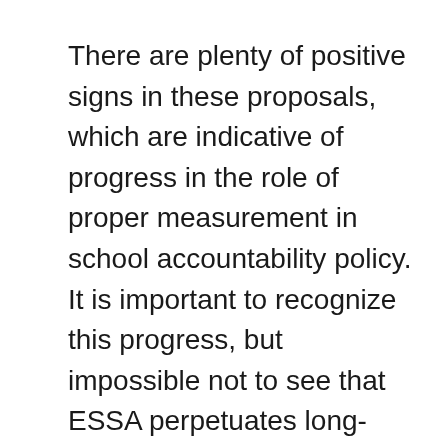There are plenty of positive signs in these proposals, which are indicative of progress in the role of proper measurement in school accountability policy. It is important to recognize this progress, but impossible not to see that ESSA perpetuates long-standing measurement problems that were institutionalized under No Child Left Behind (NCLB). These issues, particularly the ongoing failure to distinguish between student and school performance, continue to dominate accountability policy to this day. Part of the confusion stems from the fact that school and student performance are not independent of each other. For example, a test score, by itself, gauges student performance, but it also reflects, at least in part, school effectiveness